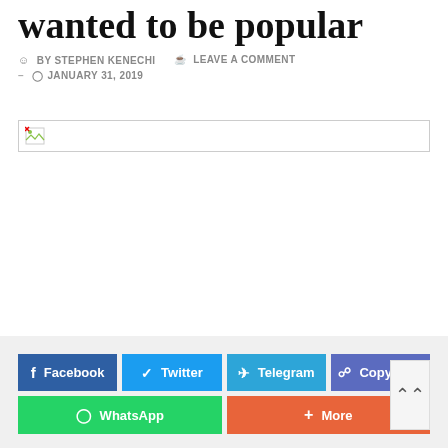wanted to be popular
BY STEPHEN KENECHI   LEAVE A COMMENT
JANUARY 31, 2019
[Figure (photo): Broken/missing image placeholder]
Facebook   Twitter   Telegram   Copy Link   WhatsApp   More